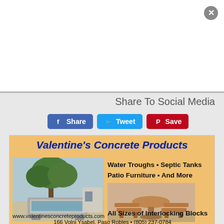Share To Social Media
Share
Tweet
Save
[Figure (illustration): Advertisement for Valentine's Concrete Products showing concrete water trough, patio furniture set, business name, services (Water Troughs, Septic Tanks, Patio Furniture, And More, All Sizes of Interlocking Blocks), website www.valentinesconcreteproducts.com, and address 166 Volni Ysabel, Paso Robles + (805) 237-0784]
www.valentinesconcreteproducts.com
166 Volni Ysabel, Paso Robles • (805) 237-0784